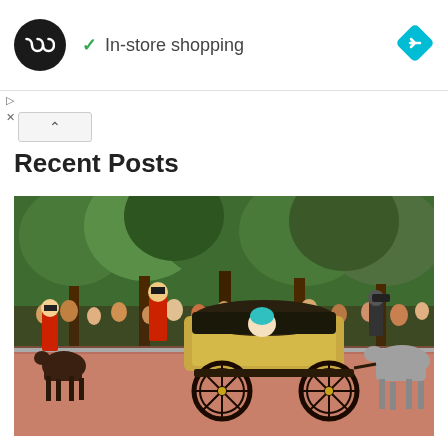[Figure (other): Ad banner with infinity-loop logo circle, green checkmark and 'In-store shopping' text, blue navigation diamond icon on right]
In-store shopping
[Figure (photo): Royal carriage procession on The Mall, London. A person in a teal blue hat rides in an open-topped wicker carriage pulled by horses. Riders in red ceremonial uniforms escort the carriage. Large crowds line the route behind barriers, with tall green trees in the background. The surface is reddish pavement.]